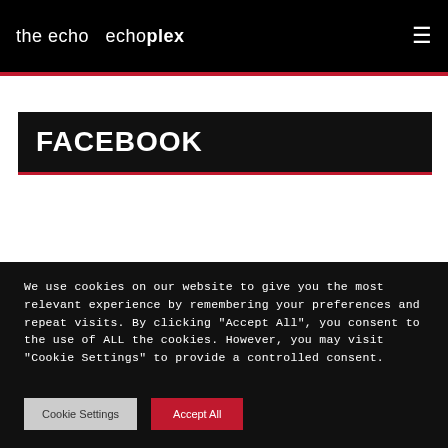the echo   echoplex
FACEBOOK
We use cookies on our website to give you the most relevant experience by remembering your preferences and repeat visits. By clicking "Accept All", you consent to the use of ALL the cookies. However, you may visit "Cookie Settings" to provide a controlled consent.
Cookie Settings   Accept All